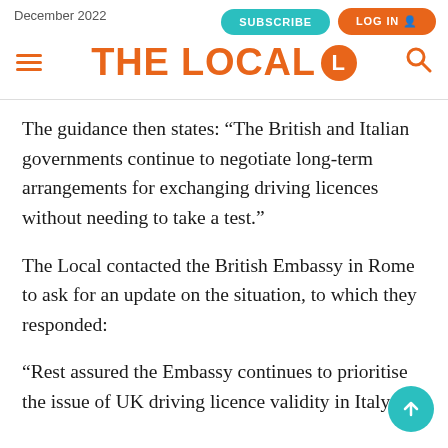December 2022 | THE LOCAL | Subscribe | Log In
The guidance then states: “The British and Italian governments continue to negotiate long-term arrangements for exchanging driving licences without needing to take a test.”
The Local contacted the British Embassy in Rome to ask for an update on the situation, to which they responded:
“Rest assured the Embassy continues to prioritise the issue of UK driving licence validity in Italy and